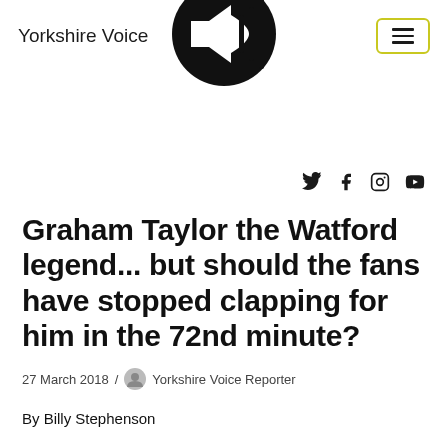Yorkshire Voice
[Figure (logo): Yorkshire Voice logo: black circle with megaphone and sound wave bars inside]
27 March 2018 / Yorkshire Voice Reporter
Graham Taylor the Watford legend... but should the fans have stopped clapping for him in the 72nd minute?
27 March 2018 / Yorkshire Voice Reporter
By Billy Stephenson